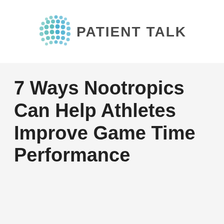[Figure (logo): Patient Talk logo with dot-grid circular icon in teal/blue and text 'PATIENT TALK' in dark gray]
7 Ways Nootropics Can Help Athletes Improve Game Time Performance